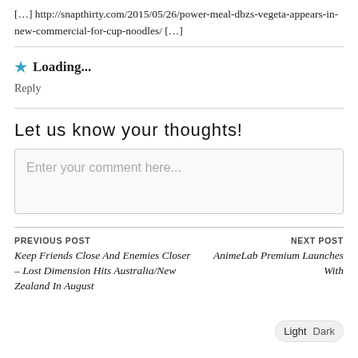[…] http://snapthirty.com/2015/05/26/power-meal-dbzs-vegeta-appears-in-new-commercial-for-cup-noodles/ […]
★ Loading...
Reply
Let us know your thoughts!
Enter your comment here...
PREVIOUS POST
Keep Friends Close And Enemies Closer – Lost Dimension Hits Australia/New Zealand In August
NEXT POST
AnimeLab Premium Launches With
Light  Dark